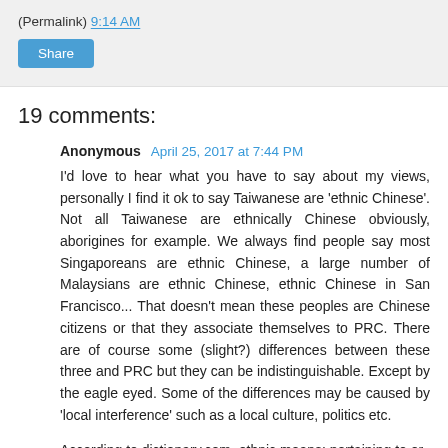(Permalink) 9:14 AM
Share
19 comments:
Anonymous April 25, 2017 at 7:44 PM
I'd love to hear what you have to say about my views, personally I find it ok to say Taiwanese are 'ethnic Chinese'. Not all Taiwanese are ethnically Chinese obviously, aborigines for example. We always find people say most Singaporeans are ethnic Chinese, a large number of Malaysians are ethnic Chinese, ethnic Chinese in San Francisco... That doesn't mean these peoples are Chinese citizens or that they associate themselves to PRC. There are of course some (slight?) differences between these three and PRC but they can be indistinguishable. Except by the eagle eyed. Some of the differences may be caused by 'local interference' such as a local culture, politics etc.
According to dictionary.com, ethnic means: pertaining to or